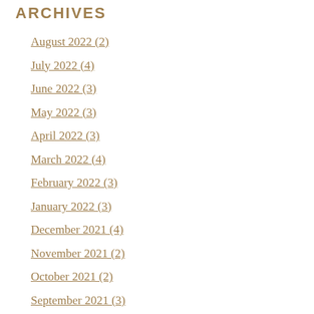ARCHIVES
August 2022 (2)
July 2022 (4)
June 2022 (3)
May 2022 (3)
April 2022 (3)
March 2022 (4)
February 2022 (3)
January 2022 (3)
December 2021 (4)
November 2021 (2)
October 2021 (2)
September 2021 (3)